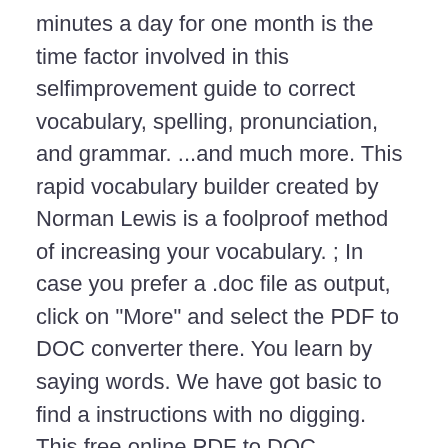minutes a day for one month is the time factor involved in this selfimprovement guide to correct vocabulary, spelling, pronunciation, and grammar. ...and much more. This rapid vocabulary builder created by Norman Lewis is a foolproof method of increasing your vocabulary. ; In case you prefer a .doc file as output, click on "More" and select the PDF to DOC converter there. You learn by saying words. We have got basic to find a instructions with no digging. This free online PDF to DOC converter allows you to save a PDF file as an editable document in Microsoft Word DOC format, ensuring better quality than many other converters. Instant Word Power Norman Lewis or just about any kind of manual, for any sort of product. A #1 New York Times bestsellerAn IndieBound bestseller A USA Today bestseller A Wall Street Journal bestseller. The ultimate alphabetically arranged thesaurus that will help you find